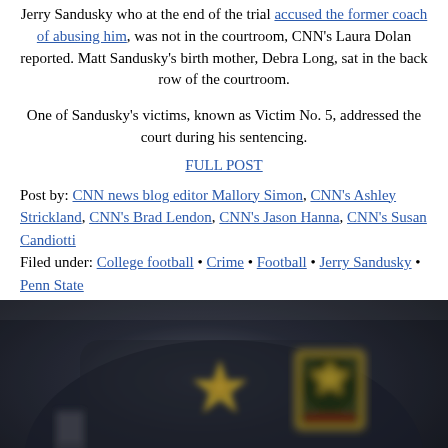Jerry Sandusky who at the end of the trial accused the former coach of abusing him, was not in the courtroom, CNN's Laura Dolan reported. Matt Sandusky's birth mother, Debra Long, sat in the back row of the courtroom.
One of Sandusky's victims, known as Victim No. 5, addressed the court during his sentencing.
FULL POST
Post by: CNN news blog editor Mallory Simon, CNN's Ashley Strickland, CNN's Brad Lendon, CNN's Jason Hanna, CNN's Susan Candiotti
Filed under: College football • Crime • Football • Jerry Sandusky • Penn State
[Figure (photo): Close-up photo of a law enforcement officer in a dark uniform showing a sheriff-style star badge on the chest and a shoulder patch on the left arm. The image is blurred/out-of-focus. A red garment is partially visible at the bottom right.]